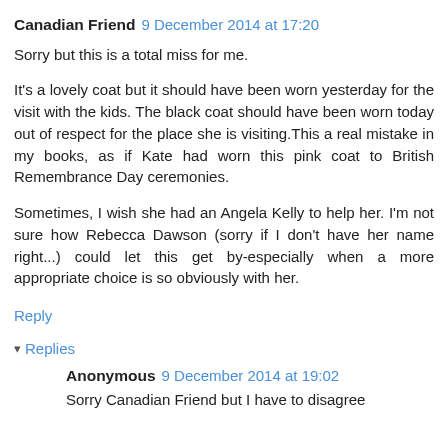Canadian Friend  9 December 2014 at 17:20
Sorry but this is a total miss for me.
It's a lovely coat but it should have been worn yesterday for the visit with the kids. The black coat should have been worn today out of respect for the place she is visiting.This a real mistake in my books, as if Kate had worn this pink coat to British Remembrance Day ceremonies.
Sometimes, I wish she had an Angela Kelly to help her. I'm not sure how Rebecca Dawson (sorry if I don't have her name right...) could let this get by-especially when a more appropriate choice is so obviously with her.
Reply
Replies
Anonymous  9 December 2014 at 19:02
Sorry Canadian Friend but I have to disagree